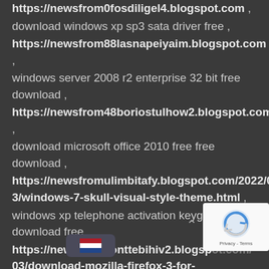https://newsfrom0fosdiligel4.blogspot.com , download windows xp sp3 sata driver free , https://newsfrom88lasnapeiyaim.blogspot.com , windows server 2008 r2 enterprise 32 bit free download , https://newsfrom48boriostulhow2.blogspot.com , download microsoft office 2010 free free download , https://newsfromulimbitafy.blogspot.com/2022/03/windows-7-skull-visual-style-theme.html , windows xp telephone activation keygen download free , https://newsfromconttebihiv2.blogspot.com/03/download-mozilla-firefox-3-for-windows.html ,